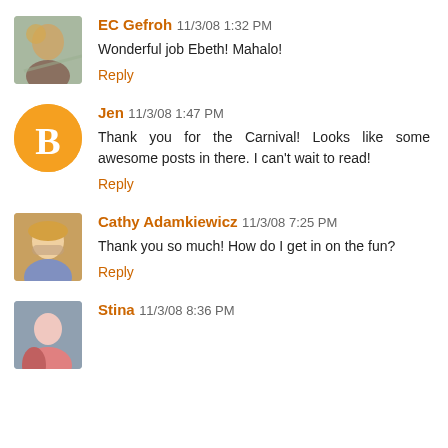EC Gefroh 11/3/08 1:32 PM
Wonderful job Ebeth! Mahalo!
Reply
Jen 11/3/08 1:47 PM
Thank you for the Carnival! Looks like some awesome posts in there. I can't wait to read!
Reply
Cathy Adamkiewicz 11/3/08 7:25 PM
Thank you so much! How do I get in on the fun?
Reply
Stina 11/3/08 8:36 PM